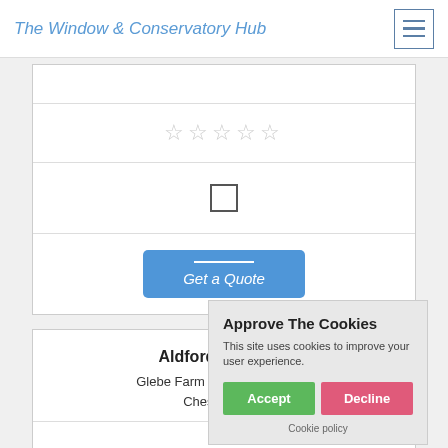The Window & Conservatory Hub
[Figure (screenshot): Star rating row with 5 empty/light stars]
[Figure (screenshot): Checkbox (empty square) form element]
Get a Quote
Aldford Aluminium
Glebe Farm Buildings, Cheshire, Cheshire,
840
Approve The Cookies
This site uses cookies to improve your user experience.
Accept
Decline
Cookie policy